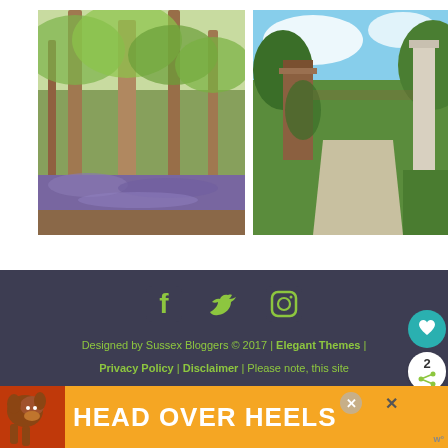[Figure (photo): Two photos side by side: left shows a woodland scene with tall beech trees and a carpet of bluebells on the forest floor; right shows a garden gate/entrance with brick pillars, a path, and lush green garden beyond under blue sky.]
[Figure (infographic): Website footer on dark grey/navy background with yellow-green social media icons (Facebook, Twitter, Instagram) and footer text: Designed by Sussex Bloggers © 2017 | Elegant Themes | Privacy Policy | Disclaimer | Please note, this site contains affiliate links. As an Amazon Associate this site earns from qualifying purchases. Floating share/like sidebar buttons on right side.]
[Figure (photo): Advertisement banner at bottom: orange background with dog image on left and bold white text HEAD OVER HEELS, with close buttons and small logo.]